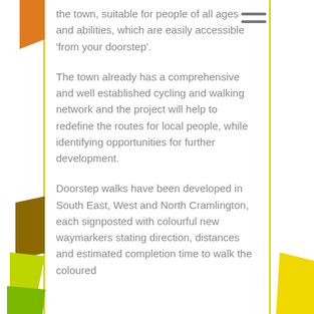the town, suitable for people of all ages and abilities, which are easily accessible ‘from your doorstep’.
The town already has a comprehensive and well established cycling and walking network and the project will help to redefine the routes for local people, while identifying opportunities for further development.
Doorstep walks have been developed in South East, West and North Cramlington, each signposted with colourful new waymarkers stating direction, distances and estimated completion time to walk the coloured